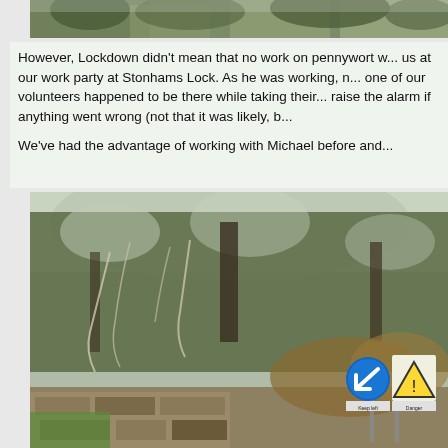[Figure (photo): Top strip image showing trees/vegetation, partially cropped]
However, Lockdown didn't mean that no work on pennywort w... us at our work party at Stonhams Lock. As he was working, n... one of our volunteers happened to be there while taking their... raise the alarm if anything went wrong (not that it was likely, b...
We've had the advantage of working with Michael before and...
[Figure (photo): Outdoor photograph showing dense overgrown trees and vegetation with a canal lock or waterway area. In the lower right, a road sign post is visible with a blue 'Keep left' circular sign and a yellow triangular 'Danger' warning sign.]